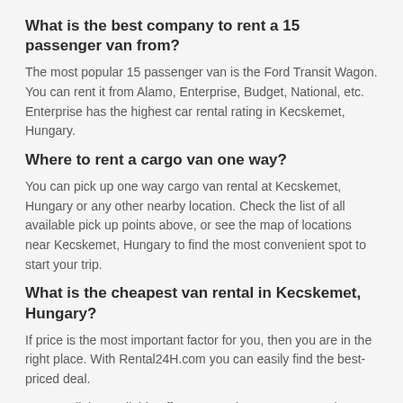What is the best company to rent a 15 passenger van from?
The most popular 15 passenger van is the Ford Transit Wagon. You can rent it from Alamo, Enterprise, Budget, National, etc. Enterprise has the highest car rental rating in Kecskemet, Hungary.
Where to rent a cargo van one way?
You can pick up one way cargo van rental at Kecskemet, Hungary or any other nearby location. Check the list of all available pick up points above, or see the map of locations near Kecskemet, Hungary to find the most convenient spot to start your trip.
What is the cheapest van rental in Kecskemet, Hungary?
If price is the most important factor for you, then you are in the right place. With Rental24H.com you can easily find the best-priced deal.
Among all the available offers at Kecskemet, Hungary, the